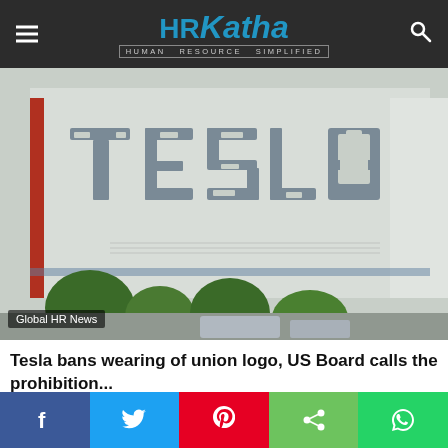HRKatha - HUMAN RESOURCE SIMPLIFIED
[Figure (photo): Exterior of a Tesla building/factory showing large TESLA letters on a grey wall, with trees and vehicles in the foreground]
Global HR News
Tesla bans wearing of union logo, US Board calls the prohibition...